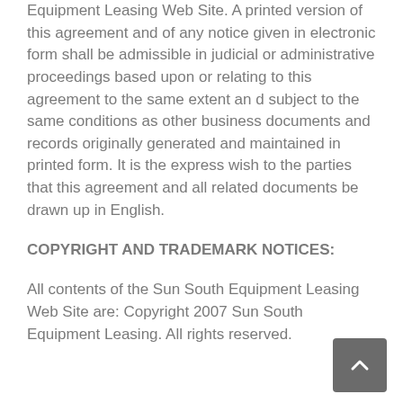Equipment Leasing Web Site. A printed version of this agreement and of any notice given in electronic form shall be admissible in judicial or administrative proceedings based upon or relating to this agreement to the same extent an d subject to the same conditions as other business documents and records originally generated and maintained in printed form. It is the express wish to the parties that this agreement and all related documents be drawn up in English.
COPYRIGHT AND TRADEMARK NOTICES:
All contents of the Sun South Equipment Leasing Web Site are: Copyright 2007 Sun South Equipment Leasing. All rights reserved.